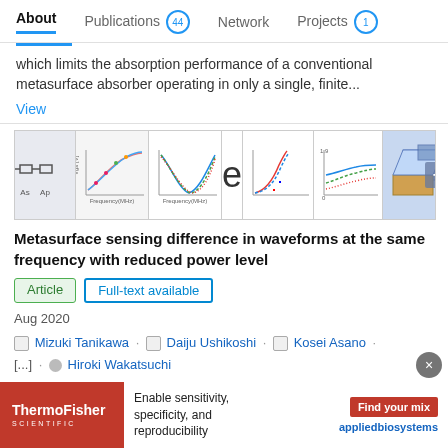About   Publications 44   Network   Projects 1
which limits the absorption performance of a conventional metasurface absorber operating in only a single, finite...
View
[Figure (screenshot): Strip of scientific figures from the paper showing graphs, charts with +8 more indicator]
Metasurface sensing difference in waveforms at the same frequency with reduced power level
Article   Full-text available
Aug 2020
Mizuki Tanikawa · Daiju Ushikoshi · Kosei Asano · [...] · Hiroki Wakatsuchi
We numerically demonstrate a new type of waveform-selective
Advertisement
[Figure (screenshot): ThermoFisher Scientific advertisement banner: Enable sensitivity, specificity, and reproducibility - Find your mix - applied biosystems]